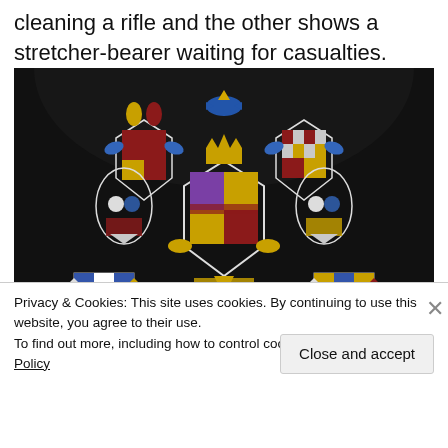cleaning a rifle and the other shows a stretcher-bearer waiting for casualties.
[Figure (photo): Stained glass window showing colourful heraldic shield designs against a dark black background, with ornate fleur-de-lis and crown motifs in blues, reds, golds, and whites.]
Privacy & Cookies: This site uses cookies. By continuing to use this website, you agree to their use.
To find out more, including how to control cookies, see here: Cookie Policy
Close and accept